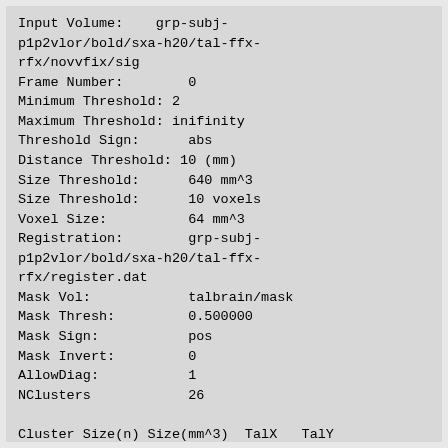Input Volume:    grp-subj-p1p2vlor/bold/sxa-h20/tal-ffx-rfx/novvfix/sig
Frame Number:        0
Minimum Threshold: 2
Maximum Threshold: inifinity
Threshold Sign:      abs
Distance Threshold: 10 (mm)
Size Threshold:      640 mm^3
Size Threshold:      10 voxels
Voxel Size:          64 mm^3
Registration:        grp-subj-p1p2vlor/bold/sxa-h20/tal-ffx-rfx/register.dat
Mask Vol:            talbrain/mask
Mask Thresh:         0.500000
Mask Sign:           pos
Mask Invert:         0
AllowDiag:           1
NClusters            26

Cluster Size(n) Size(mm^3)  TalX   TalY TalZ      Max
  1      348       22272.0    59.40 -66.72 -13.48  5.66192